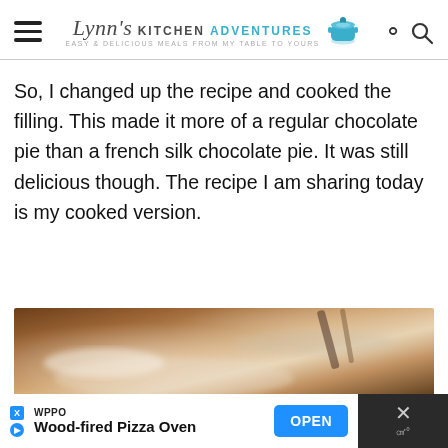Lynn's Kitchen Adventures — easy & delicious meals from my table to yours
So, I changed up the recipe and cooked the filling. This made it more of a regular chocolate pie than a french silk chocolate pie. It was still delicious though. The recipe I am sharing today is my cooked version.
[Figure (photo): Close-up blurred photo of a food item, likely a pie with white cream topping on a wooden surface]
WPPO Wood-fired Pizza Oven OPEN